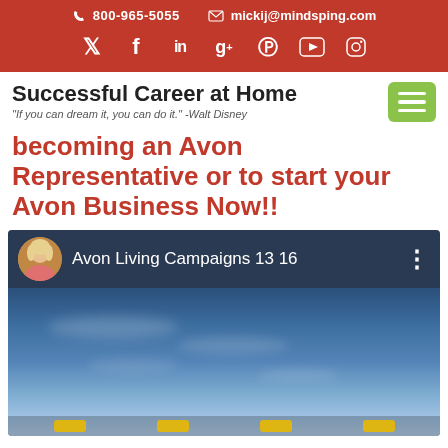800-965-5055   mickij@mindsping.com
Social icons: Twitter, Facebook, LinkedIn, Google+, Pinterest, YouTube, Instagram
Successful Career at Home
"If you can dream it, you can do it." -Walt Disney
becoming an Avon Representative or to start your Avon Business Now!!
[Figure (screenshot): Video thumbnail showing 'Avon Living Campaigns 13 16' with a woman's avatar, menu dots icon, and a blue sky background with bottom navigation icons.]